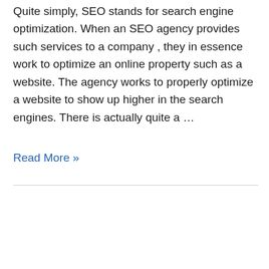Quite simply, SEO stands for search engine optimization. When an SEO agency provides such services to a company , they in essence work to optimize an online property such as a website. The agency works to properly optimize a website to show up higher in the search engines. There is actually quite a …
Read More »